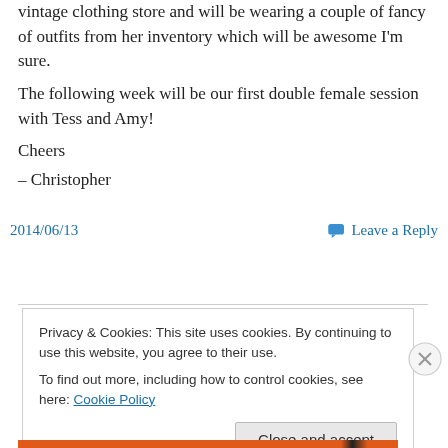vintage clothing store and will be wearing a couple of fancy of outfits from her inventory which will be awesome I'm sure.
The following week will be our first double female session with Tess and Amy!
Cheers
– Christopher
2014/06/13
Leave a Reply
Privacy & Cookies: This site uses cookies. By continuing to use this website, you agree to their use.
To find out more, including how to control cookies, see here: Cookie Policy
Close and accept